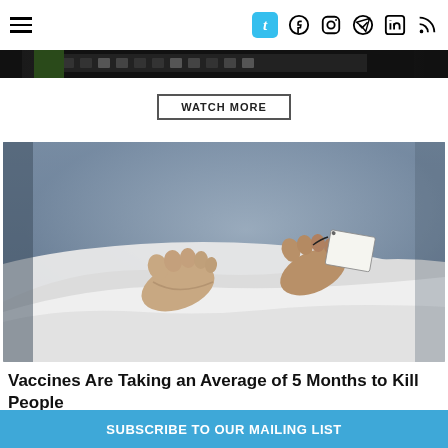Navigation and social icons header
[Figure (screenshot): Dark video thumbnail strip with toolbar icons]
WATCH MORE
[Figure (photo): Morgue photo showing feet of a body covered in white sheet with a toe tag attached]
Vaccines Are Taking an Average of 5 Months to Kill People
SUBSCRIBE TO OUR MAILING LIST